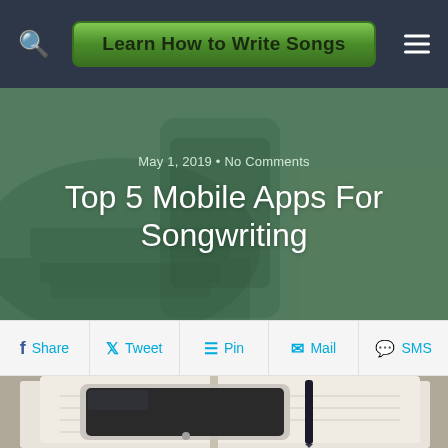Learn How to Write Songs
May 1, 2019 • No Comments
Top 5 Mobile Apps For Songwriting
Share  Tweet  Pin  Mail  SMS
[Figure (photo): A smartphone resting on an open notebook with a pen, blurred background, monochrome tones]